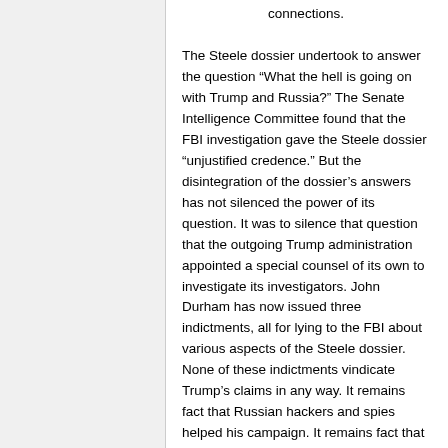connections.
The Steele dossier undertook to answer the question “What the hell is going on with Trump and Russia?” The Senate Intelligence Committee found that the FBI investigation gave the Steele dossier “unjustified credence.” But the disintegration of the dossier’s answers has not silenced the power of its question. It was to silence that question that the outgoing Trump administration appointed a special counsel of its own to investigate its investigators. John Durham has now issued three indictments, all for lying to the FBI about various aspects of the Steele dossier. None of these indictments vindicate Trump’s claims in any way. It remains fact that Russian hackers and spies helped his campaign. It remains fact that the Trump campaign welcomed the help. It remains fact that Trump’s campaign chairman sought to share proprietary campaign information with a person whom the Senate report identified as a “Russian intelligence officer.” It remains fact that Trump hoped to